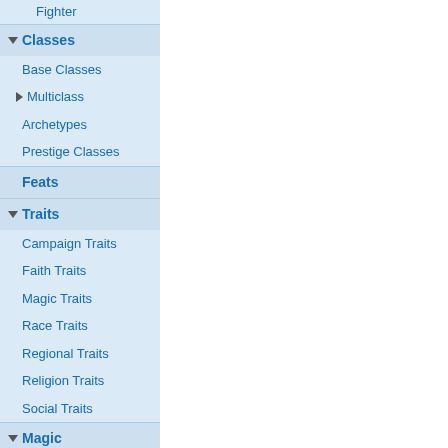Fighter
Classes
Base Classes
Multiclass
Archetypes
Prestige Classes
Feats
Traits
Campaign Traits
Faith Traits
Magic Traits
Race Traits
Regional Traits
Religion Traits
Social Traits
Magic
Dealing with Evil Outsiders
Primal Magic
Spells
Magic Items
Artifacts
Magic Armor
Magic Weapons